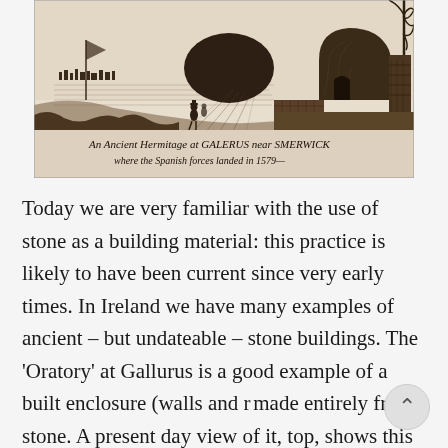[Figure (illustration): An old engraving/illustration of an ancient hermitage at Galerus near Smerwick, showing a beehive stone structure, a figure standing in a landscape, hills, and water in the background. Caption text reads: 'An Ancient Hermitage at GALERUS near SMERWICK where the Spanish forces landed in 1579']
Today we are very familiar with the use of stone as a building material: this practice is likely to have been current since very early times. In Ireland we have many examples of ancient – but undateable – stone buildings. The 'Oratory' at Gallurus is a good example of a built enclosure (walls and ro made entirely from stone. A present day view of it, top, shows this remarkably preserved structure;